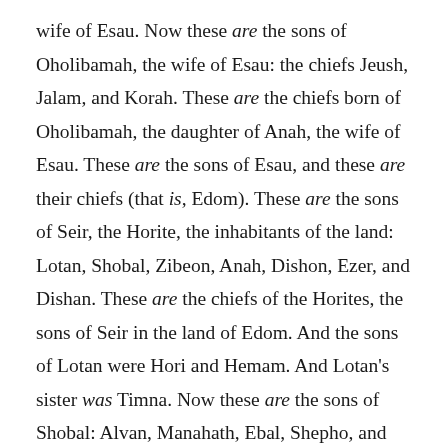wife of Esau. Now these are the sons of Oholibamah, the wife of Esau: the chiefs Jeush, Jalam, and Korah. These are the chiefs born of Oholibamah, the daughter of Anah, the wife of Esau. These are the sons of Esau, and these are their chiefs (that is, Edom). These are the sons of Seir, the Horite, the inhabitants of the land: Lotan, Shobal, Zibeon, Anah, Dishon, Ezer, and Dishan. These are the chiefs of the Horites, the sons of Seir in the land of Edom. And the sons of Lotan were Hori and Hemam. And Lotan's sister was Timna. Now these are the sons of Shobal: Alvan, Manahath, Ebal, Shepho, and Onam. Now these are the sons of Zibeon: Aiah and Anah—he is Anah who found the hot springs in the desert while he pastured the donkeys of Zibeon his father. Now these are the sons